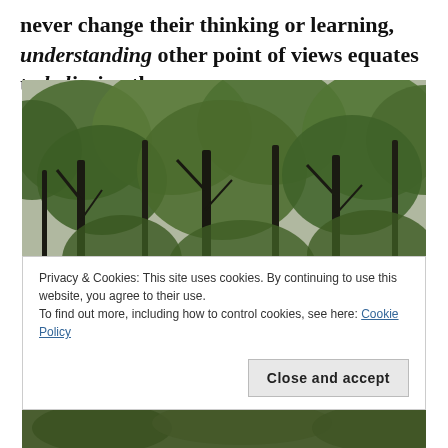never change their thinking or learning, understanding other point of views equates to believing them.
[Figure (photo): A forest scene with green leafy trees and dark trunks against a grey sky. A semi-transparent URL overlay reads: https://www.16personalitie... .com/personality-type-...]
Privacy & Cookies: This site uses cookies. By continuing to use this website, you agree to their use.
To find out more, including how to control cookies, see here: Cookie Policy
[Figure (photo): Bottom portion of another forest/nature photo, partially visible at the bottom of the page.]